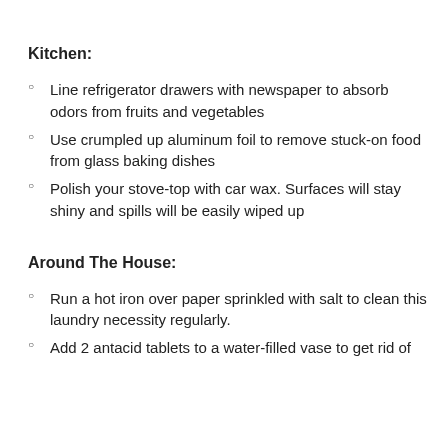Kitchen:
Line refrigerator drawers with newspaper to absorb odors from fruits and vegetables
Use crumpled up aluminum foil to remove stuck-on food from glass baking dishes
Polish your stove-top with car wax. Surfaces will stay shiny and spills will be easily wiped up
Around The House:
Run a hot iron over paper sprinkled with salt to clean this laundry necessity regularly.
Add 2 antacid tablets to a water-filled vase to get rid of